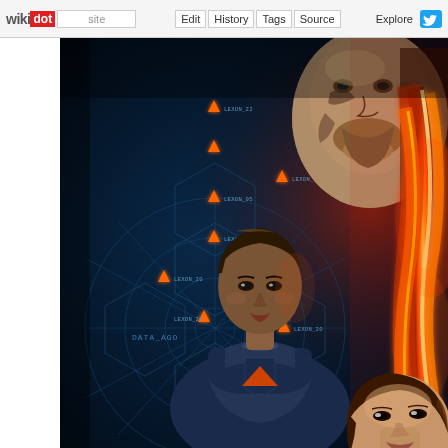wikidot | site | Edit | History | Tags | Source | Explore | Share on Twitter
[Figure (illustration): Science fiction promotional artwork showing a woman in a blue uniform with orange triangle insignia standing with arms crossed, a tattooed man's face above, a woman's face in the lower right, and a dramatic orange flame/energy ribbon along the right side, overlaid on a dark blue tactical HUD display background with orange arrow markers and hexagonal grid patterns labeled DATA_AGO and DATA_OGO.]